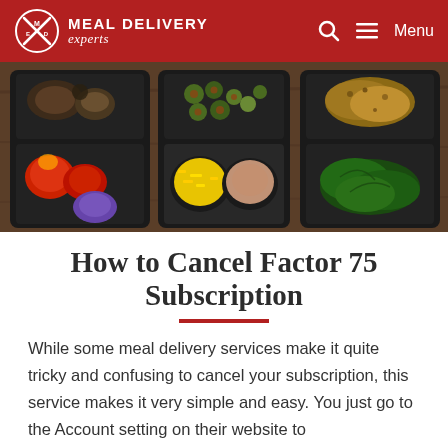MEAL DELIVERY experts
[Figure (photo): Overhead photo of three meal prep trays with compartments containing various foods: roasted vegetables (tomatoes, red peppers, onions, mushrooms), shredded cheese, sauce/dip, and sautéed greens.]
How to Cancel Factor 75 Subscription
While some meal delivery services make it quite tricky and confusing to cancel your subscription, this service makes it very simple and easy. You just go to the Account setting on their website to